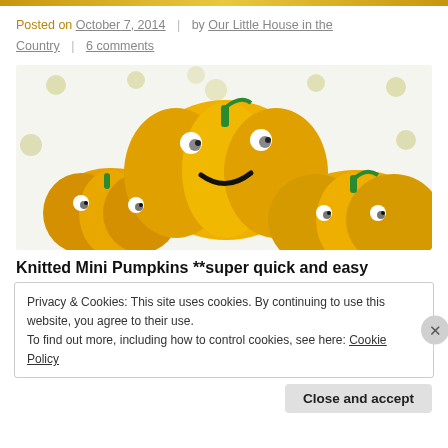Posted on October 7, 2014 | by Our Little House in the Country | 6 comments
[Figure (photo): Three yellow crocheted/knitted mini pumpkins with googly eyes and green yarn stems, arranged together on a white polka-dot fabric background.]
Knitted Mini Pumpkins **super quick and easy
Privacy & Cookies: This site uses cookies. By continuing to use this website, you agree to their use. To find out more, including how to control cookies, see here: Cookie Policy
Close and accept